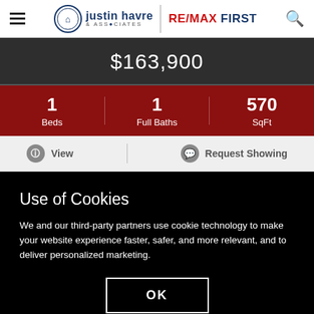justin havre & Associates | RE/MAX FIRST
$163,900
| Beds | Full Baths | SqFt |
| --- | --- | --- |
| 1 | 1 | 570 |
View | Request Showing
Use of Cookies
We and our third-party partners use cookie technology to make your website experience faster, safer, and more relevant, and to deliver personalized marketing.
OK